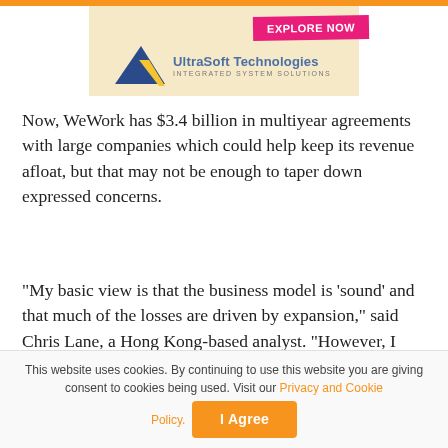[Figure (logo): UltraSoft Technologies advertisement banner with logo, triangles, and EXPLORE NOW badge on pink/magenta ribbon]
Now, WeWork has $3.4 billion in multiyear agreements with large companies which could help keep its revenue afloat, but that may not be enough to taper down expressed concerns.
“My basic view is that the business model is ‘sound’ and that much of the losses are driven by expansion,” said Chris Lane, a Hong Kong-based analyst. “However, I still struggle to see how they will justify a valuation anywhere near what SoftBank was reported to have paid in the last
This website uses cookies. By continuing to use this website you are giving consent to cookies being used. Visit our Privacy and Cookie Policy. I Agree